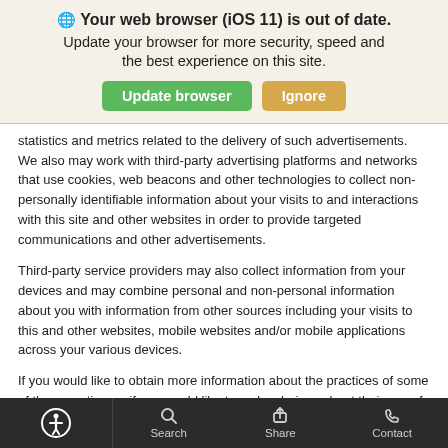[Figure (screenshot): Browser update notification banner with globe icon, title 'Your web browser (iOS 11) is out of date.', subtitle 'Update your browser for more security, speed and the best experience on this site.', and two buttons: green 'Update browser' and tan 'Ignore'.]
statistics and metrics related to the delivery of such advertisements. We also may work with third-party advertising platforms and networks that use cookies, web beacons and other technologies to collect non-personally identifiable information about your visits to and interactions with this site and other websites in order to provide targeted communications and other advertisements.
Third-party service providers may also collect information from your devices and may combine personal and non-personal information about you with information from other sources including your visits to this and other websites, mobile websites and/or mobile applications across your various devices.
If you would like to obtain more information about the practices of some of these parties, or if you would like to make choices about their use of
[Figure (screenshot): Mobile app bottom navigation bar with dark background containing four items: accessibility icon (circle with figure), Search, Share, and Contact.]